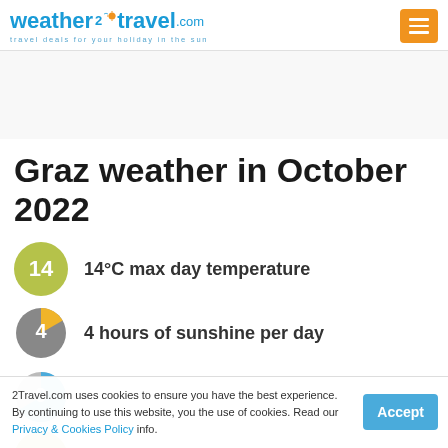weather2travel.com — travel deals for your holiday in the sun
Graz weather in October 2022
14°C max day temperature
4 hours of sunshine per day
9
2Travel.com uses cookies to ensure you have the best experience. By continuing to use this website, you the use of cookies. Read our Privacy & Cookies Policy info.